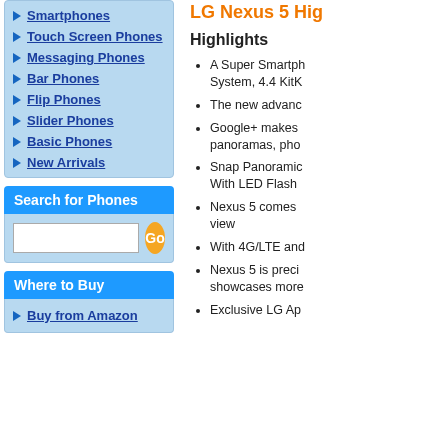Smartphones
Touch Screen Phones
Messaging Phones
Bar Phones
Flip Phones
Slider Phones
Basic Phones
New Arrivals
Search for Phones
Where to Buy
Buy from Amazon
LG Nexus 5 Hig
Highlights
A Super Smartphone with Operating System, 4.4 KitK
The new advanc
Google+ makes panoramas, pho
Snap Panoramic With LED Flash
Nexus 5 comes view
With 4G/LTE and
Nexus 5 is preci showcases more
Exclusive LG Ap